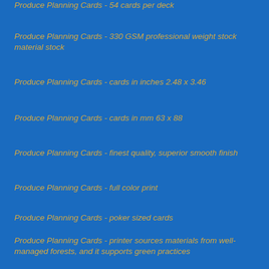Produce Planning Cards - 54 cards per deck
Produce Planning Cards - 330 GSM professional weight stock material stock
Produce Planning Cards - cards in inches 2.48 x 3.46
Produce Planning Cards - cards in mm 63 x 88
Produce Planning Cards - finest quality, superior smooth finish
Produce Planning Cards - full color print
Produce Planning Cards - poker sized cards
Produce Planning Cards - printer sources materials from well-managed forests, and it supports green practices
Produce Planning Cards Help Agile Teams Estimate Work